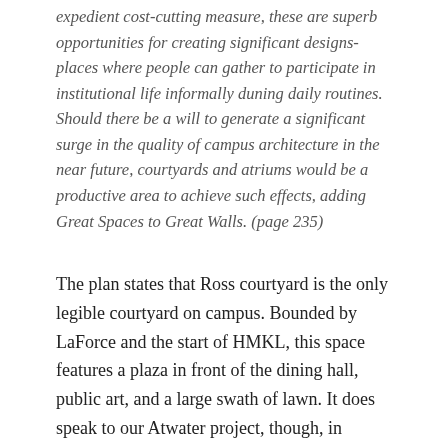expedient cost-cutting measure, these are superb opportunities for creating significant designs-places where people can gather to participate in institutional life informally duning daily routines. Should there be a will to generate a significant surge in the quality of campus architecture in the near future, courtyards and atriums would be a productive area to achieve such effects, adding Great Spaces to Great Walls. (page 235)
The plan states that Ross courtyard is the only legible courtyard on campus. Bounded by LaForce and the start of HMKL, this space features a plaza in front of the dining hall, public art, and a large swath of lawn. It does speak to our Atwater project, though, in stating
Atwater Court should be developed north of Le